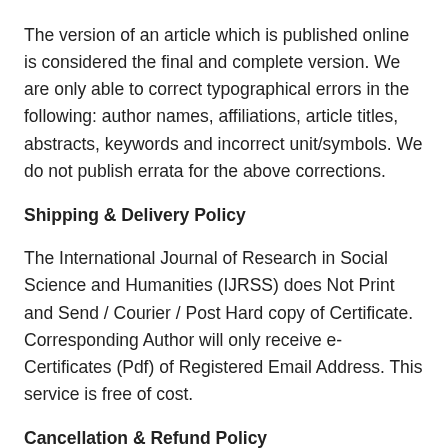The version of an article which is published online is considered the final and complete version. We are only able to correct typographical errors in the following: author names, affiliations, article titles, abstracts, keywords and incorrect unit/symbols. We do not publish errata for the above corrections.
Shipping & Delivery Policy
The International Journal of Research in Social Science and Humanities (IJRSS) does Not Print and Send / Courier / Post Hard copy of Certificate. Corresponding Author will only receive e- Certificates (Pdf) of Registered Email Address. This service is free of cost.
Cancellation & Refund Policy
No cancellation/refunds are issued for all the published papers in the International Journal of Research in Social Science and